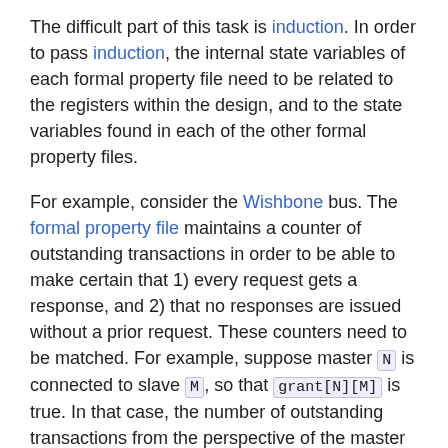The difficult part of this task is induction. In order to pass induction, the internal state variables of each formal property file need to be related to the registers within the design, and to the state variables found in each of the other formal property files.
For example, consider the Wishbone bus. The formal property file maintains a counter of outstanding transactions in order to be able to make certain that 1) every request gets a response, and 2) that no responses are issued without a prior request. These counters need to be matched. For example, suppose master N is connected to slave M, so that grant[N][M] is true. In that case, the number of outstanding transactions from the perspective of the master must be matched to the outstanding transactions counter within the slave.
This isn't as trivial as it sounds.
Transactions issued by the master might be waiting in the